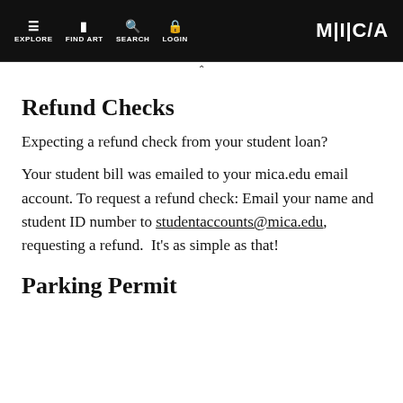EXPLORE  FIND ART  SEARCH  LOGIN  MICA
Refund Checks
Expecting a refund check from your student loan?
Your student bill was emailed to your mica.edu email account. To request a refund check: Email your name and student ID number to studentaccounts@mica.edu, requesting a refund.  It's as simple as that!
Parking Permit